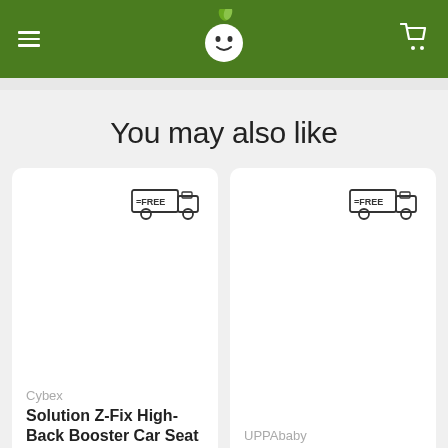Navigation header with logo, hamburger menu, and cart icon
You may also like
[Figure (screenshot): Product card for Cybex Solution Z-Fix High-Back Booster Car Seat with free shipping badge]
Cybex
Solution Z-Fix High-Back Booster Car Seat
[Figure (screenshot): Product card for UPPAbaby product with free shipping badge]
UPPAbaby